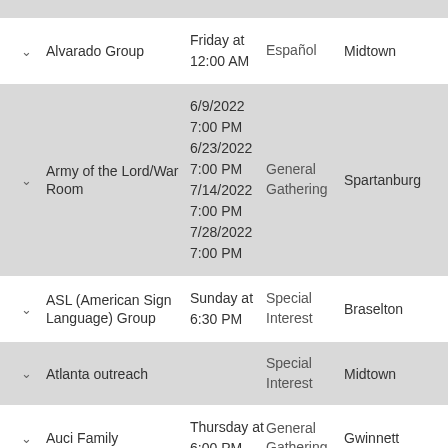Alvarado Group — Friday at 12:00 AM — Español — Midtown
Army of the Lord/War Room — 6/9/2022 7:00 PM, 6/23/2022 7:00 PM, 7/14/2022 7:00 PM, 7/28/2022 7:00 PM — General Gathering — Spartanburg
ASL (American Sign Language) Group — Sunday at 6:30 PM — Special Interest — Braselton
Atlanta outreach — Special Interest — Midtown
Auci Family — Thursday at 6:00 PM — General Gathering — Gwinnett
Basketball — Special Interest — Español